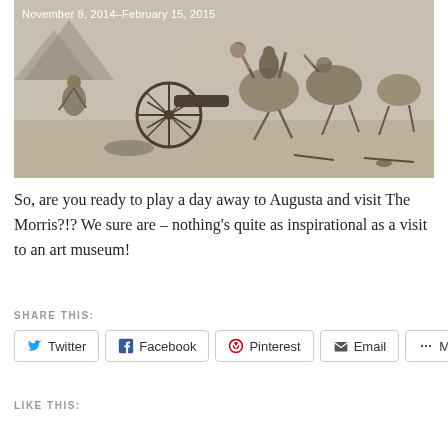[Figure (illustration): Historical battle illustration showing soldiers with cannon, horses, and fallen figures in a Civil War era engraving style. Date text 'November 8, 2014–February 15, 2015' overlaid in white.]
So, are you ready to play a day away to Augusta and visit The Morris?!? We sure are – nothing's quite as inspirational as a visit to an art museum!
SHARE THIS:
Twitter  Facebook  Pinterest  Email  More
LIKE THIS: